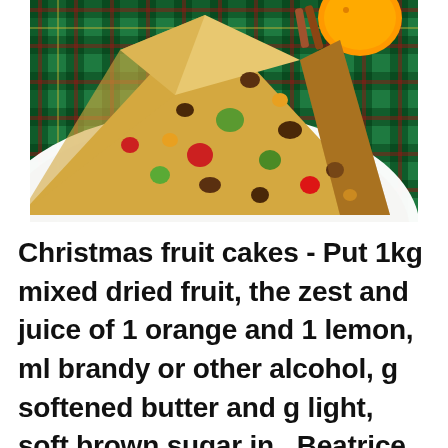[Figure (photo): A slice of Christmas fruit cake with colorful candied fruits (red, green, orange) and raisins visible inside the golden-brown cake, served on a white plate. Plaid tartan tablecloth in green and red in background, with an orange and cinnamon sticks visible at top.]
Christmas fruit cakes - Put 1kg mixed dried fruit, the zest and juice of 1 orange and 1 lemon, ml brandy or other alcohol, g softened butter and g light, soft brown sugar in . Beatrice Bakery Co. bakes some of the finest dessert and fruit cakes in the world. Shop our selection of